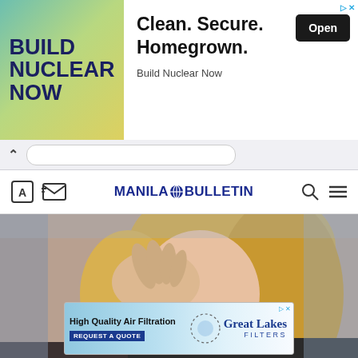[Figure (screenshot): Advertisement banner: Build Nuclear Now with clean green background on left, 'Clean. Secure. Homegrown.' text and Open button on right]
[Figure (screenshot): Browser navigation bar with back chevron and URL bar]
[Figure (screenshot): Manila Bulletin website navigation bar with logo, search and menu icons]
[Figure (photo): Photo of a blonde woman touching her eye, suggesting eye discomfort or macular degeneration]
Reverse Macular Degeneration (See How).
ular Degeneration | Sponsored
[Figure (screenshot): Bottom advertisement: High Quality Air Filtration - Great Lakes Filters, Request A Quote]